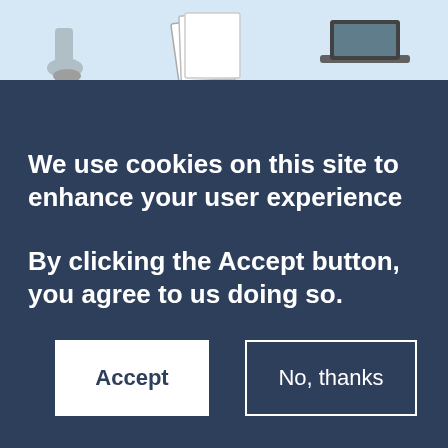[Figure (illustration): Illustration strip at top showing cartoon-style figures with documents and a laptop on a light blue background]
We use cookies on this site to enhance your user experience
By clicking the Accept button, you agree to us doing so.
Accept
No, thanks